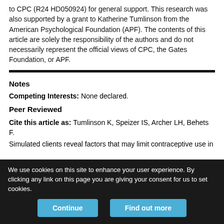to CPC (R24 HD050924) for general support. This research was also supported by a grant to Katherine Tumlinson from the American Psychological Foundation (APF). The contents of this article are solely the responsibility of the authors and do not necessarily represent the official views of CPC, the Gates Foundation, or APF.
Notes
Competing Interests: None declared.
Peer Reviewed
Cite this article as: Tumlinson K, Speizer IS, Archer LH, Behets F. Simulated clients reveal factors that may limit contraceptive use in
We use cookies on this site to enhance your user experience. By clicking any link on this page you are giving your consent for us to set cookies.